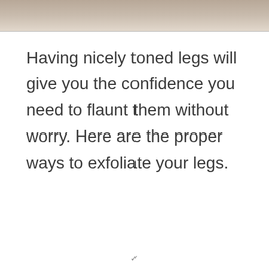[Figure (photo): Cropped photo showing the lower body of a person with toned legs against a white background, viewed from above.]
Having nicely toned legs will give you the confidence you need to flaunt them without worry. Here are the proper ways to exfoliate your legs.